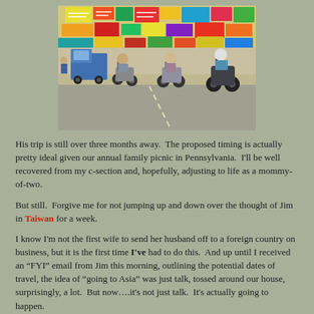[Figure (photo): Street scene in Taiwan showing multiple scooter riders on a busy road lined with colorful Chinese signage and storefronts. Several motorcyclists are in motion, with a blue truck visible in the background.]
His trip is still over three months away.  The proposed timing is actually pretty ideal given our annual family picnic in Pennsylvania.  I'll be well recovered from my c-section and, hopefully, adjusting to life as a mommy-of-two.
But still.  Forgive me for not jumping up and down over the thought of Jim in Taiwan for a week.
I know I'm not the first wife to send her husband off to a foreign country on business, but it is the first time I've had to do this.  And up until I received an “FYI” email from Jim this morning, outlining the potential dates of travel, the idea of “going to Asia” was just talk, tossed around our house, surprisingly, a lot.  But now….it's not just talk.  It's actually going to happen.